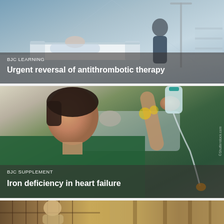[Figure (photo): Hospital corridor with a medical gurney/bed and healthcare worker, blue-toned environment]
BJC LEARNING
Urgent reversal of antithrombotic therapy
[Figure (photo): Nurse adjusting an IV drip bag while patient lies in hospital bed in background, healthcare setting]
BJC SUPPLEMENT
Iron deficiency in heart failure
[Figure (photo): Partial view of library scene with bookshelves and a person, warm brown tones]